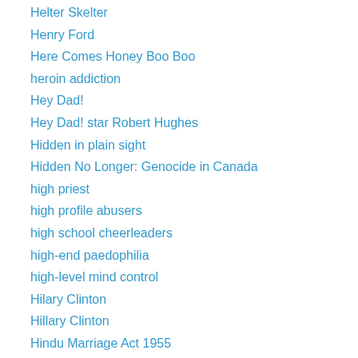Helter Skelter
Henry Ford
Here Comes Honey Boo Boo
heroin addiction
Hey Dad!
Hey Dad! star Robert Hughes
Hidden in plain sight
Hidden No Longer: Genocide in Canada
high priest
high profile abusers
high school cheerleaders
high-end paedophilia
high-level mind control
Hilary Clinton
Hillary Clinton
Hindu Marriage Act 1955
historic abuse allegations
historic child abuse
historic child abuse allegations